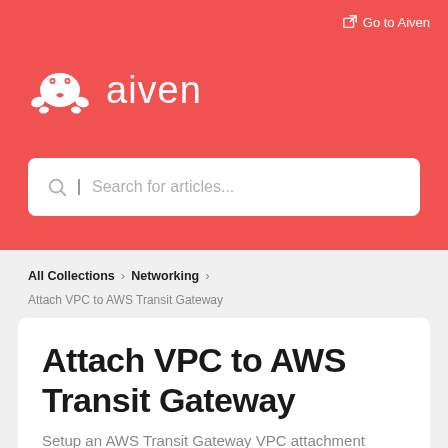[Figure (logo): Aiven crab logo with text 'aiven' in white on red background header]
Go to Aiven
Search for articles...
All Collections > Networking >
Attach VPC to AWS Transit Gateway
Attach VPC to AWS Transit Gateway
Setup an AWS Transit Gateway VPC attachment